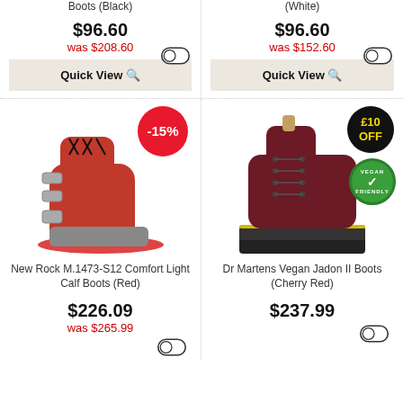Boots (Black)
(White)
$96.60
was $208.60
$96.60
was $152.60
Quick View
Quick View
[Figure (photo): Red New Rock M.1473-S12 Comfort Light Calf Boots with multiple buckles and laces]
[Figure (photo): Dark cherry red Dr Martens Vegan Jadon II platform boots]
New Rock M.1473-S12 Comfort Light Calf Boots (Red)
Dr Martens Vegan Jadon II Boots (Cherry Red)
$226.09
was $265.99
$237.99